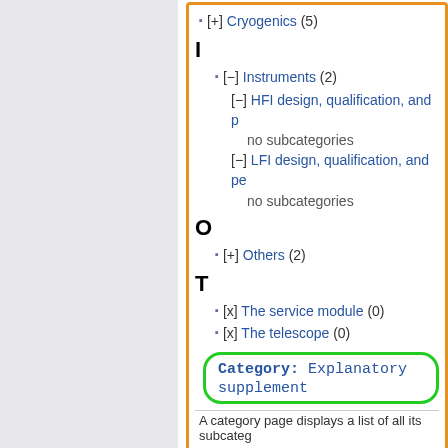[+] Cryogenics (5)
I
[−] Instruments (2)
[−] HFI design, qualification, and p…
no subcategories
[−] LFI design, qualification, and pe…
no subcategories
O
[+] Others (2)
T
[x] The service module (0)
[x] The telescope (0)
[Figure (screenshot): Box with green oval highlight showing: Category: Explanatory supplement]
A category page displays a list of all its subcateg…
at any point in the page defining the category, to make things easier to follow we will always place it at the bottom of the page defining the Category.